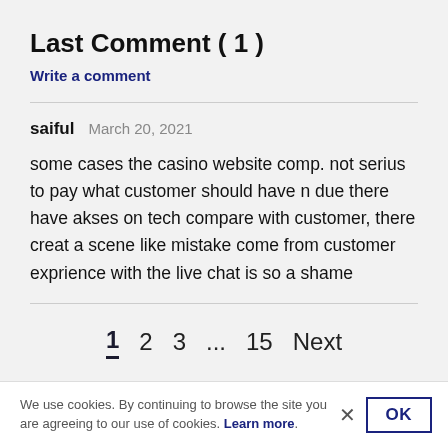Last Comment ( 1 )
Write a comment
saiful   March 20, 2021
some cases the casino website comp. not serius to pay what customer should have n due there have akses on tech compare with customer, there creat a scene like mistake come from customer exprience with the live chat is so a shame
1  2  3  ...  15  Next
We use cookies. By continuing to browse the site you are agreeing to our use of cookies. Learn more.